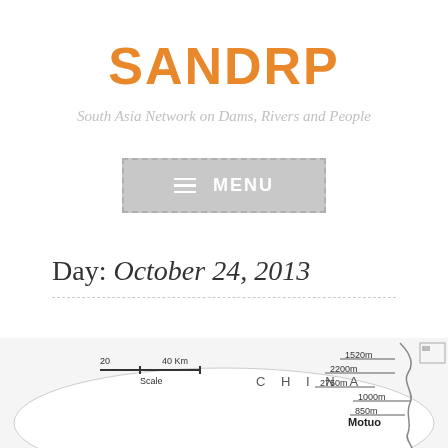SANDRP
South Asia Network on Dams, Rivers and People
[Figure (other): Menu navigation button with dashed border, hamburger icon and MENU label]
Day: October 24, 2013
[Figure (map): Partial map showing China region with elevation markers: 1520m, 2200m, 2750m, 1000m, 850m, and location label Motuo, with CHINA text, scale bar showing 20-40Km]